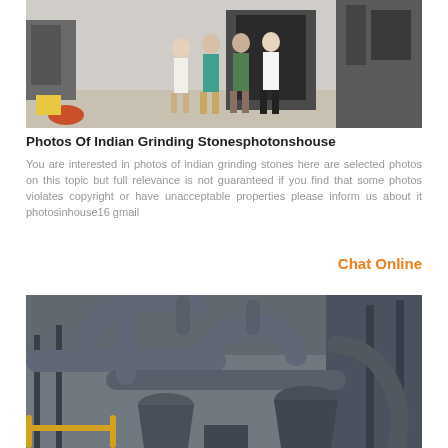[Figure (photo): Industrial grinding facility interior with three people standing in front of large machinery and equipment]
Photos Of Indian Grinding Stonesphotonshouse
You are interested in photos of indian grinding stones here are selected photos on this topic but full relevance is not guaranteed if you find that some photos violates copyright or have unacceptable properties please inform us about it photosinhouse16 gmail
Chat Online
[Figure (photo): Industrial grinding mill equipment showing large pipes and cyclone dust collectors on a rooftop or outdoor platform]